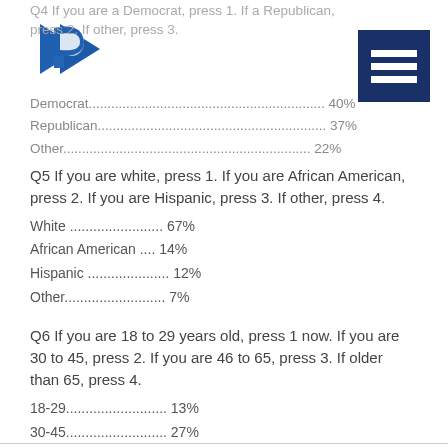[Figure (logo): Blue stylized P logo]
[Figure (other): Dark navy hamburger menu icon with three white horizontal bars]
Q4 If you are a Democrat, press 1. If a Republican, press 2. If other, press 3.
Democrat............................................................... 40%
Republican............................................................. 37%
Other.................................................................. 22%
Q5 If you are white, press 1. If you are African American, press 2. If you are Hispanic, press 3. If other, press 4.
White ........................ 67%
African American .... 14%
Hispanic ..................... 12%
Other.......................... 7%
Q6 If you are 18 to 29 years old, press 1 now. If you are 30 to 45, press 2. If you are 46 to 65, press 3. If older than 65, press 4.
18-29.......................... 13%
30-45.......................... 27%
46-65.......................... 40%
Older than 65............. 20%